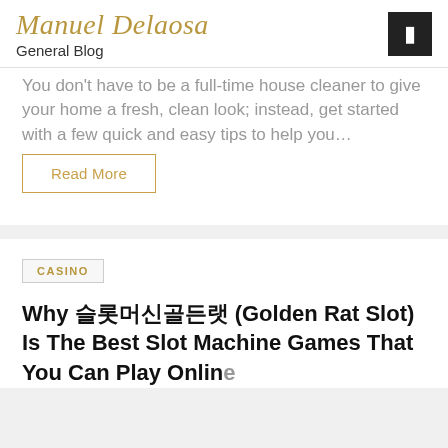Manuel Delaosa
General Blog
You don't have to be a full-time house cleaner to give your home a fresh, clean look; instead, get started with a few quick and easy tips to help you…
Read More
CASINO
Why 슬롯머신골든랫 (Golden Rat Slot) Is The Best Slot Machine Games That You Can Play Online